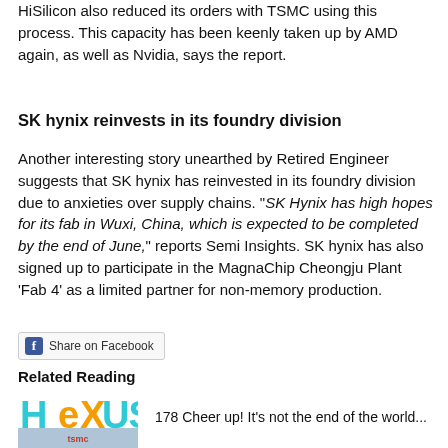HiSilicon also reduced its orders with TSMC using this process. This capacity has been keenly taken up by AMD again, as well as Nvidia, says the report.
SK hynix reinvests in its foundry division
Another interesting story unearthed by Retired Engineer suggests that SK hynix has reinvested in its foundry division due to anxieties over supply chains. "SK Hynix has high hopes for its fab in Wuxi, China, which is expected to be completed by the end of June," reports Semi Insights. SK hynix has also signed up to participate in the MagnaChip Cheongju Plant 'Fab 4' as a limited partner for non-memory production.
[Figure (screenshot): Facebook Share on Facebook button]
Related Reading
[Figure (logo): HEXUS logo with orange X]
178 Cheer up! It's not the end of the world...
[Figure (photo): TSMC building photograph]